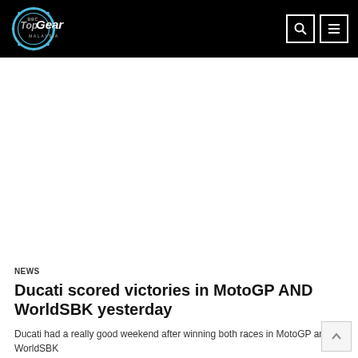BBC Top Gear Malaysia
NEWS
Ducati scored victories in MotoGP AND WorldSBK yesterday
Ducati had a really good weekend after winning both races in MotoGP and WorldSBK
20 September 2021